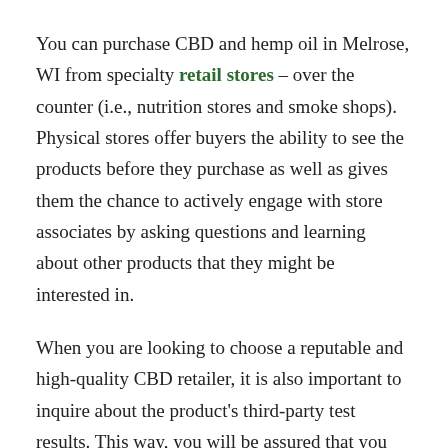You can purchase CBD and hemp oil in Melrose, WI from specialty retail stores – over the counter (i.e., nutrition stores and smoke shops). Physical stores offer buyers the ability to see the products before they purchase as well as gives them the chance to actively engage with store associates by asking questions and learning about other products that they might be interested in.
When you are looking to choose a reputable and high-quality CBD retailer, it is also important to inquire about the product's third-party test results. This way, you will be assured that you are getting a high-quality and safe product as reputable companies will invest in such tests to gain the trust of their customers.
Manufacturers are free to sell what they consider as the